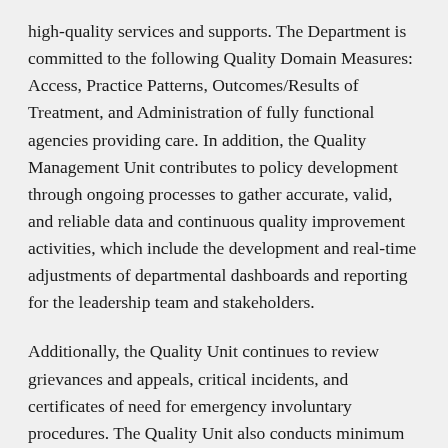high-quality services and supports. The Department is committed to the following Quality Domain Measures: Access, Practice Patterns, Outcomes/Results of Treatment, and Administration of fully functional agencies providing care. In addition, the Quality Management Unit contributes to policy development through ongoing processes to gather accurate, valid, and reliable data and continuous quality improvement activities, which include the development and real-time adjustments of departmental dashboards and reporting for the leadership team and stakeholders.
Additionally, the Quality Unit continues to review grievances and appeals, critical incidents, and certificates of need for emergency involuntary procedures. The Quality Unit also conducts minimum standard chart reviews, agency reviews, agency redesignation, oversees plans of corrective action related to designation deficiencies, and designates new agencies. The Quality Unit manages the Departmental RBA scorecard, which provides a snapshot of significant